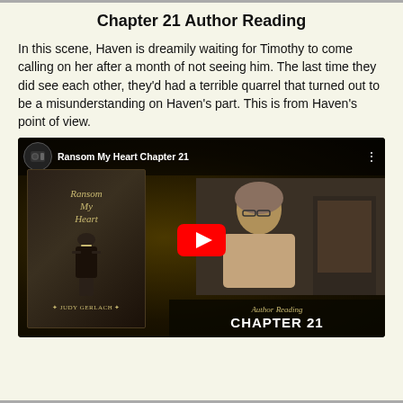Chapter 21 Author Reading
In this scene, Haven is dreamily waiting for Timothy to come calling on her after a month of not seeing him. The last time they did see each other, they'd had a terrible quarrel that turned out to be a misunderstanding on Haven's part. This is from Haven's point of view.
[Figure (screenshot): YouTube video thumbnail for 'Ransom My Heart Chapter 21' author reading by Judy Gerlach. Shows book cover on left with a figure in period costume and the text 'Ransom My Heart' and 'Judy Gerlach'. Right side shows an older woman reading (the author). A red YouTube play button is centered. Bottom right shows 'Author Reading CHAPTER 21' text. Top bar shows the video title 'Ransom My Heart Chapter 21' with a camera channel icon.]